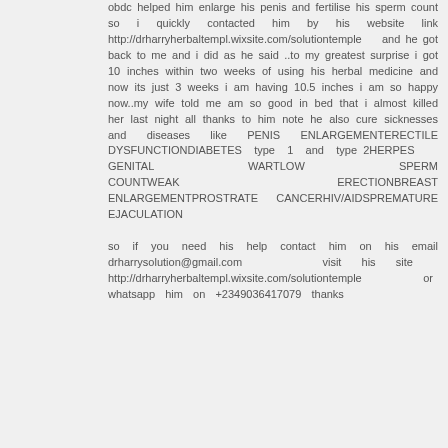obdc helped him enlarge his penis and fertilise his sperm count so i quickly contacted him by his website link http://drharryherbaltempl.wixsite.com/solutiontemple   and he got back to me and i did as he said ..to my greatest surprise i got 10 inches within two weeks of using his herbal medicine and now its just 3 weeks i am having 10.5 inches i am so happy now..my wife told me am so good in bed that i almost killed her last night all thanks to him note he also cure sicknesses and diseases like PENIS ENLARGEMENTERECTILE DYSFUNCTIONDIABETES type 1 and type 2HERPES GENITAL WARTLOW SPERM COUNTWEAK ERECTIONBREAST ENLARGEMENTPROSTRATE CANCERHIV/AIDSPREMATURE EJACULATION so if you need his help contact him on his email drharrysolution@gmail.com     visit his site    http://drharryherbaltempl.wixsite.com/solutiontemple      or whatsapp him on +2349036417079 thanks